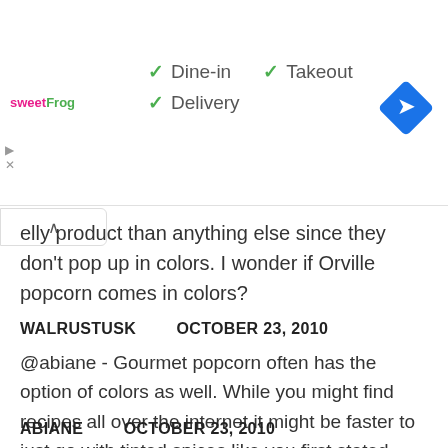[Figure (screenshot): Ad banner showing sweetFrog logo with checkmarks for Dine-in, Takeout, Delivery options and a blue navigation diamond icon]
elly product than anything else since they don't pop up in colors. I wonder if Orville popcorn comes in colors?
WALRUSTUSK   OCTOBER 23, 2010
@abiane - Gourmet popcorn often has the option of colors as well. While you might find recipes all over the internet it might be faster to just go with tinted spices like you first stated.
ABIANE   OCTOBER 23, 2010